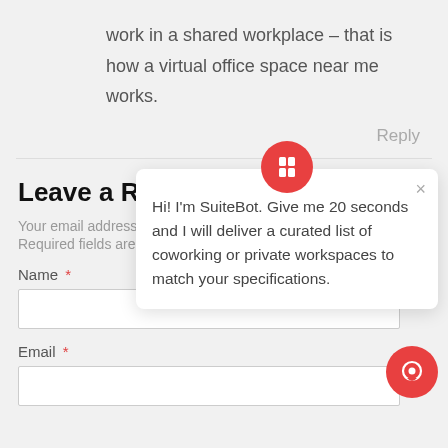work in a shared workplace – that is how a virtual office space near me works.
Reply
Leave a Reply
Your email address w…
Required fields are…
Name *
Email *
[Figure (screenshot): SuiteBot chat popup with red circular icon at top, close X button, and message: Hi! I'm SuiteBot. Give me 20 seconds and I will deliver a curated list of coworking or private workspaces to match your specifications.]
[Figure (other): Red circular chat bubble button at bottom right corner]